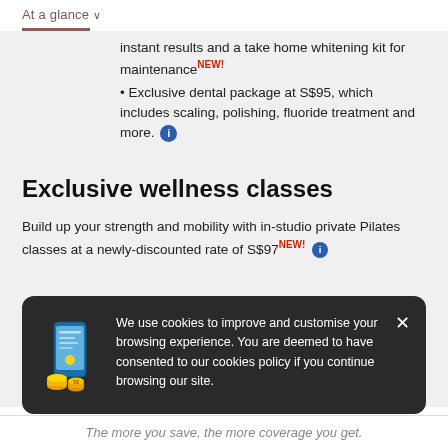At a glance
instant results and a take home whitening kit for maintenance NEW!
• Exclusive dental package at S$95, which includes scaling, polishing, fluoride treatment and more.
Exclusive wellness classes
Build up your strength and mobility with in-studio private Pilates classes at a newly-discounted rate of S$97 NEW!
We use cookies to improve and customise your browsing experience. You are deemed to have consented to our cookies policy if you continue browsing our site.
The more you save, the more coverage you get.